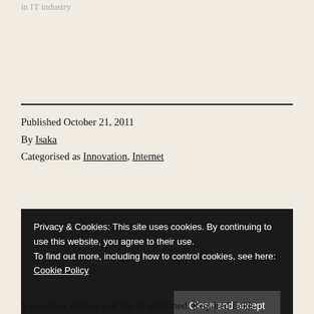in IT Industry
Published October 21, 2011
By Isaka
Categorised as Innovation, Internet
Privacy & Cookies: This site uses cookies. By continuing to use this website, you agree to their use.
To find out more, including how to control cookies, see here: Cookie Policy
Close and accept
Your email address will not be published. Required fields